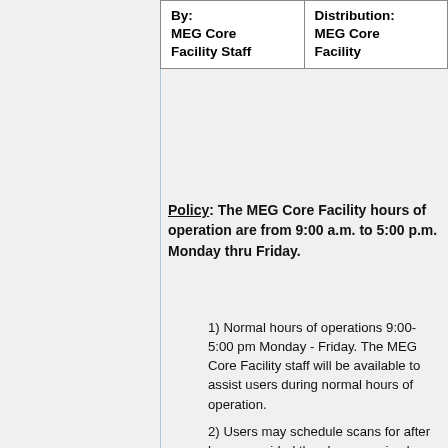| By:
MEG Core Facility Staff | Distribution:
MEG Core Facility |
Policy: The MEG Core Facility hours of operation are from 9:00 a.m. to 5:00 p.m. Monday thru Friday.
1) Normal hours of operations 9:00-5:00 pm Monday - Friday. The MEG Core Facility staff will be available to assist users during normal hours of operation.
2) Users may schedule scans for after hours provided they have received training and are capable of operating MEG equipment in accordance with MEG policies and procedures.